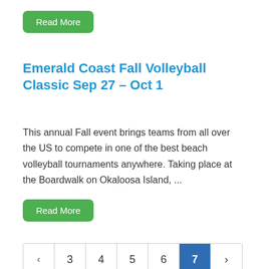Read More
Emerald Coast Fall Volleyball Classic Sep 27 – Oct 1
This annual Fall event brings teams from all over the US to compete in one of the best beach volleyball tournaments anywhere. Taking place at the Boardwalk on Okaloosa Island, ...
Read More
‹ 3 4 5 6 7 ›